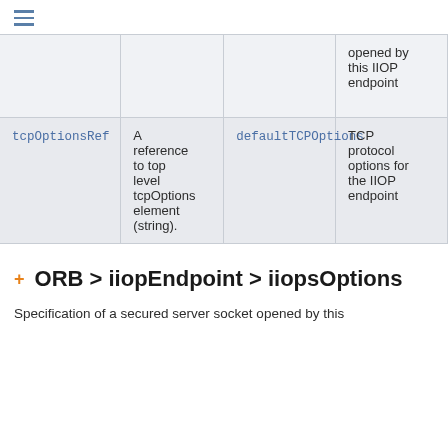≡
|  |  |  | opened by this IIOP endpoint |
| tcpOptionsRef | A reference to top level tcpOptions element (string). | defaultTCPOptions | TCP protocol options for the IIOP endpoint |
+ ORB > iiopEndpoint > iiopsOptions
Specification of a secured server socket opened by this